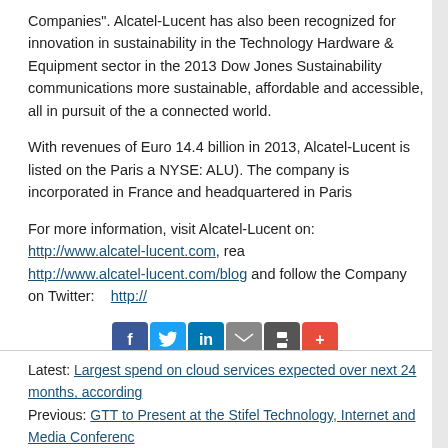Companies". Alcatel-Lucent has also been recognized for innovation in sustainability in the Technology Hardware & Equipment sector in the 2013 Dow Jones Sustainability communications more sustainable, affordable and accessible, all in pursuit of the a connected world.
With revenues of Euro 14.4 billion in 2013, Alcatel-Lucent is listed on the Paris a NYSE: ALU). The company is incorporated in France and headquartered in Paris
For more information, visit Alcatel-Lucent on: http://www.alcatel-lucent.com, re... http://www.alcatel-lucent.com/blog and follow the Company on Twitter: http://...
[Figure (infographic): Social sharing icons: Facebook, Twitter, LinkedIn, Email, Print, Plus]
PR Archives: Latest, By Company, By Date
Latest: Largest spend on cloud services expected over next 24 months, according...
Previous: GTT to Present at the Stifel Technology, Internet and Media Conference...
Next: Rackspace Hosting Reports Fourth Quarter 2013 Results